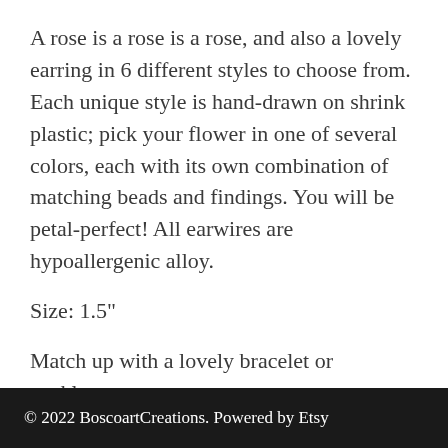A rose is a rose is a rose, and also a lovely earring in 6 different styles to choose from. Each unique style is hand-drawn on shrink plastic; pick your flower in one of several colors, each with its own combination of matching beads and findings. You will be petal-perfect! All earwires are hypoallergenic alloy.
Size: 1.5"
Match up with a lovely bracelet or necklace.
© 2022 BoscoartCreations. Powered by Etsy